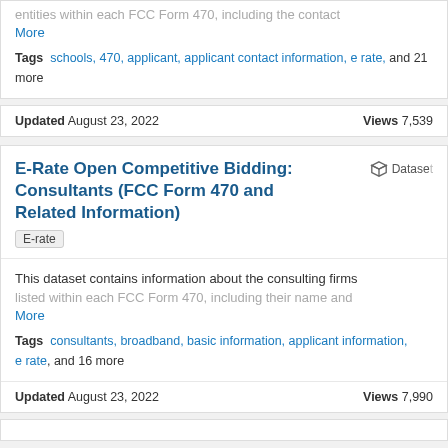entities within each FCC Form 470, including the contact
More
Tags  schools, 470, applicant, applicant contact information, e rate, and 21 more
Updated August 23, 2022    Views 7,539
E-Rate Open Competitive Bidding: Consultants (FCC Form 470 and Related Information)
Dataset
E-rate
This dataset contains information about the consulting firms listed within each FCC Form 470, including their name and
More
Tags  consultants, broadband, basic information, applicant information, e rate, and 16 more
Updated August 23, 2022    Views 7,990